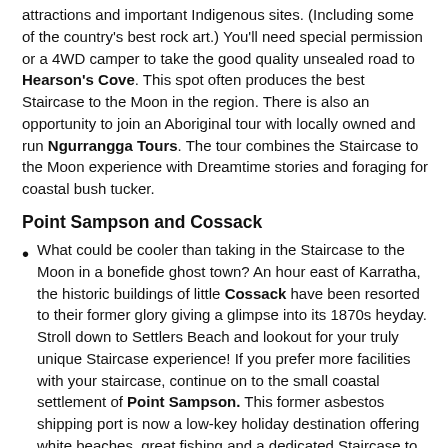attractions and important Indigenous sites. (Including some of the country's best rock art.)  You'll need special permission or a 4WD camper to take the good quality unsealed road to Hearson's Cove. This spot often produces the best Staircase to the Moon in the region.  There is also an opportunity to join an Aboriginal tour with locally owned and run Ngurrangga Tours. The tour combines the Staircase to the Moon experience with Dreamtime stories and foraging for coastal bush tucker.
Point Sampson and Cossack
What could be cooler than taking in the Staircase to the Moon in a bonefide ghost town? An hour east of Karratha, the historic buildings of little Cossack have been resorted to their former glory giving a glimpse into its 1870s heyday.  Stroll down to Settlers Beach and lookout for your truly unique Staircase experience!  If you prefer more facilities with your staircase, continue on to the small coastal settlement of Point Sampson.  This former asbestos shipping port is now a low-key holiday destination offering white beaches, great fishing and a dedicated Staircase to the Moon viewing platform.